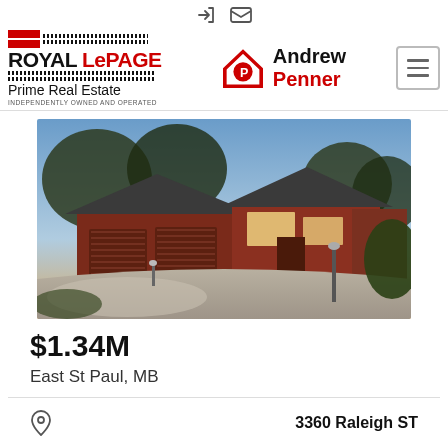Login | Mail icons (nav bar)
[Figure (logo): Royal LePage Prime Real Estate logo and Andrew Penner realtor logo with hamburger menu button]
[Figure (photo): Exterior photo of a large red brick and siding bungalow with dark grey shingles, three-car garage, wide stamped concrete driveway, trees in background, dusk lighting]
$1.34M
East St Paul, MB
3360 Raleigh ST